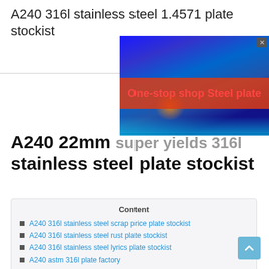A240 316l stainless steel 1.4571 plate stockist
[Figure (screenshot): Advertisement banner with dark blue background and red band containing text 'One-stop shop Steel plate' in red/pink color. Has a close button (x) in top right corner and an orange glow effect at the bottom.]
A240 22mm super yields 316l stainless steel plate stockist
Content
A240 316l stainless steel scrap price plate stockist
A240 316l stainless steel rust plate stockist
A240 316l stainless steel lyrics plate stockist
A240 astm 316l plate factory